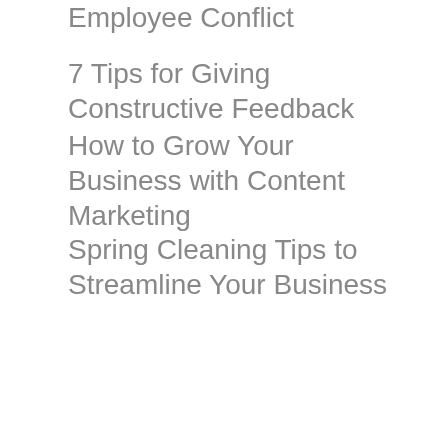Employee Conflict
7 Tips for Giving Constructive Feedback
How to Grow Your Business with Content Marketing
Spring Cleaning Tips to Streamline Your Business